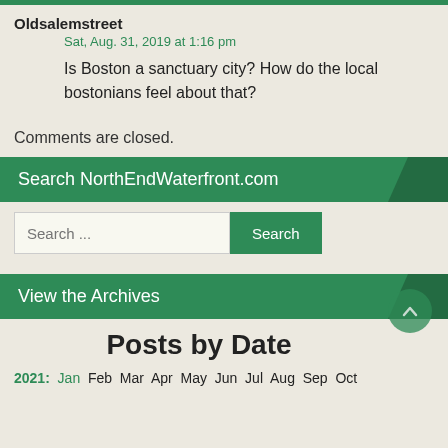Oldsalemstreet
Sat, Aug. 31, 2019 at 1:16 pm
Is Boston a sanctuary city? How do the local bostonians feel about that?
Comments are closed.
Search NorthEndWaterfront.com
Search ...
View the Archives
Posts by Date
2021: Jan Feb Mar Apr May Jun Jul Aug Sep Oct